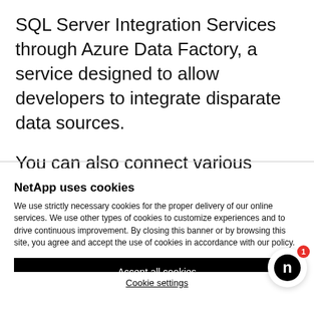SQL Server Integration Services through Azure Data Factory, a service designed to allow developers to integrate disparate data sources.
You can also connect various visualization and data exploration tools to your Analysis Services
NetApp uses cookies
We use strictly necessary cookies for the proper delivery of our online services. We use other types of cookies to customize experiences and to drive continuous improvement. By closing this banner or by browsing this site, you agree and accept the use of cookies in accordance with our policy.
Accept all cookies
Cookie settings